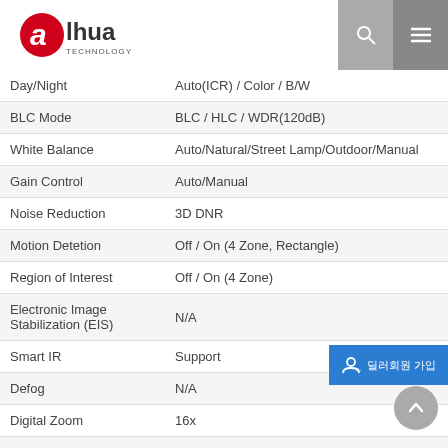[Figure (logo): Dahua Technology logo with red 'a' symbol and text 'alhua TECHNOLOGY']
| Feature | Value |
| --- | --- |
| Day/Night | Auto(ICR) / Color / B/W |
| BLC Mode | BLC / HLC / WDR(120dB) |
| White Balance | Auto/Natural/Street Lamp/Outdoor/Manual |
| Gain Control | Auto/Manual |
| Noise Reduction | 3D DNR |
| Motion Detetion | Off / On (4 Zone, Rectangle) |
| Region of Interest | Off / On (4 Zone) |
| Electronic Image Stabilization (EIS) | N/A |
| Smart IR | Support |
| Defog | N/A |
| Digital Zoom | 16x |
| Flip | 0°/90°/180°/270° |
| Mirror | Off / On |
| Privacy Masking | Off / On (4 Area, Rectangle) |
| Audio |  |
| Compression | G.711a/ G.711Mu/ AAC/ G.726 |